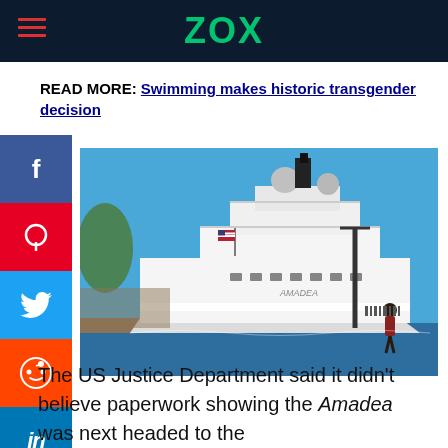ZOX
READ MORE: Swimming makes historic transgender decision
[Figure (photo): Large white luxury superyacht named Amadea docked at a port under a blue sky, with a person walking in the foreground.]
The US Justice Department said it didn't believe paperwork showing the Amadea was next headed to the